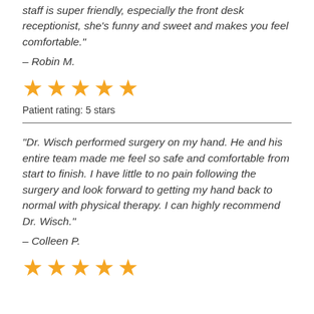staff is super friendly, especially the front desk receptionist, she's funny and sweet and makes you feel comfortable."
– Robin M.
[Figure (other): Five orange star rating icons]
Patient rating: 5 stars
“Dr. Wisch performed surgery on my hand. He and his entire team made me feel so safe and comfortable from start to finish. I have little to no pain following the surgery and look forward to getting my hand back to normal with physical therapy. I can highly recommend Dr. Wisch."
– Colleen P.
[Figure (other): Five orange star rating icons]